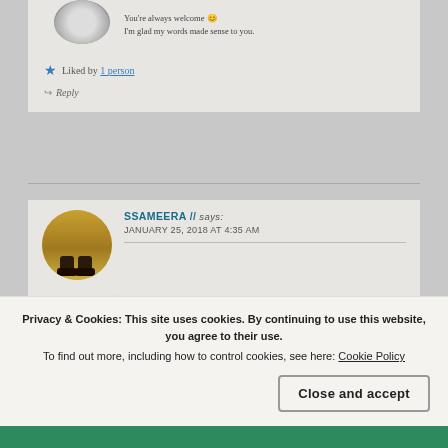You're always welcome 😊
I'm glad my words made sense to you.
★ Liked by 1 person
↪ Reply
SSAMEERA // says:
JANUARY 25, 2018 AT 4:35 AM
It was beautiful yar 😊 and it caught yesterday me. I'll add more words. ★
★ Liked by 1 person
Privacy & Cookies: This site uses cookies. By continuing to use this website, you agree to their use.
To find out more, including how to control cookies, see here: Cookie Policy
Close and accept